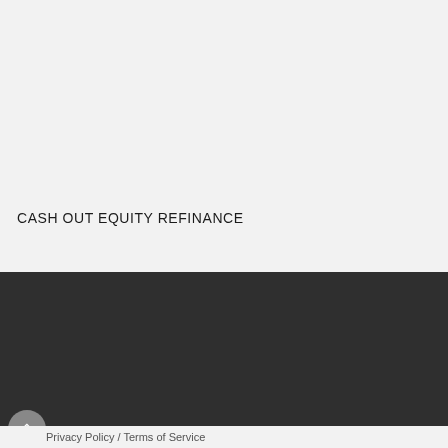CASH OUT EQUITY REFINANCE
© 2015. All rights reserved. Buy Kallyas Theme.
Privacy Policy / Terms of Service